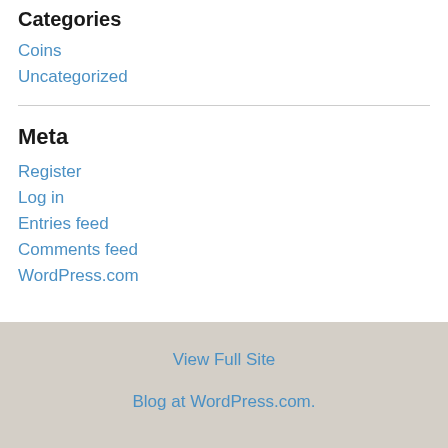Categories
Coins
Uncategorized
Meta
Register
Log in
Entries feed
Comments feed
WordPress.com
View Full Site
Blog at WordPress.com.